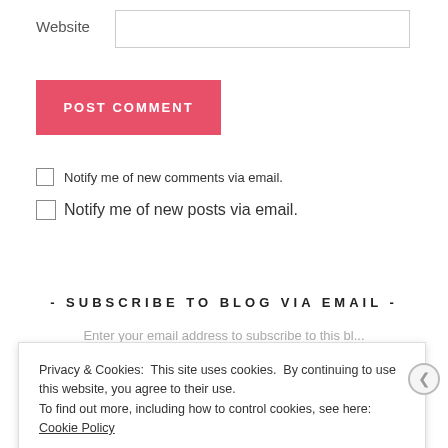Website
POST COMMENT
Notify me of new comments via email.
Notify me of new posts via email.
- SUBSCRIBE TO BLOG VIA EMAIL -
Privacy & Cookies: This site uses cookies. By continuing to use this website, you agree to their use.
To find out more, including how to control cookies, see here: Cookie Policy
Close and accept